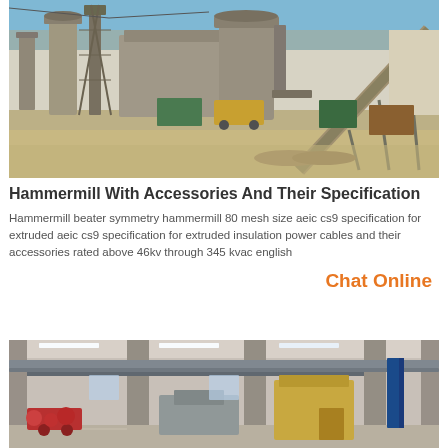[Figure (photo): Outdoor industrial cement plant or mining facility with large structures, conveyor belts, silos, heavy machinery, and construction equipment on sandy/dusty ground under blue sky]
Hammermill With Accessories And Their Specification
Hammermill beater symmetry hammermill 80 mesh size aeic cs9 specification for extruded aeic cs9 specification for extruded insulation power cables and their accessories rated above 46kv through 345 kvac english
Chat Online
[Figure (photo): Interior of industrial warehouse or factory with concrete pillars, overhead cranes, manufacturing equipment, and various machinery visible]